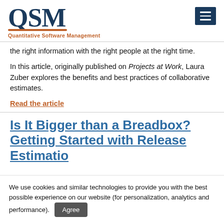[Figure (logo): QSM Quantitative Software Management logo with large dark navy 'QSM' text, orange underline accent, and orange bold tagline 'Quantitative Software Management']
the right information with the right people at the right time.
In this article, originally published on Projects at Work, Laura Zuber explores the benefits and best practices of collaborative estimates.
Read the article
Is It Bigger than a Breadbox? Getting Started with Release Estimation
We use cookies and similar technologies to provide you with the best possible experience on our website (for personalization, analytics and performance).